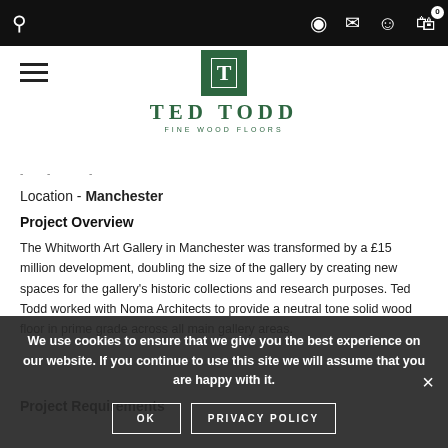Ted Todd Fine Wood Floors — navigation bar with search, location, mail, account, cart icons
[Figure (logo): Ted Todd Fine Wood Floors logo — green square with T monogram, brand name TED TODD, tagline FINE WOOD FLOORS]
Location - Manchester
Project Overview
The Whitworth Art Gallery in Manchester was transformed by a £15 million development, doubling the size of the gallery by creating new spaces for the gallery's historic collections and research purposes. Ted Todd worked with Noma Architects to provide a neutral tone solid wood floor in prime grade across all main gallery areas.
Project Requirements
We use cookies to ensure that we give you the best experience on our website. If you continue to use this site we will assume that you are happy with it.